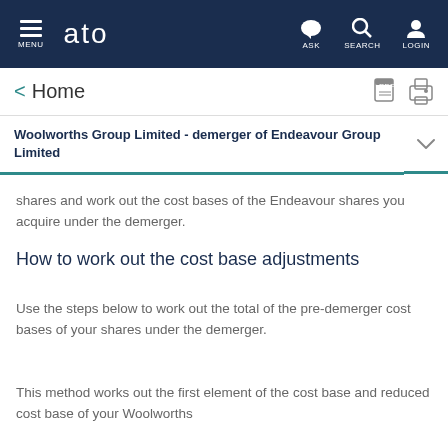MENU  ato  ASK  SEARCH  LOGIN
< Home
Woolworths Group Limited - demerger of Endeavour Group Limited
shares and work out the cost bases of the Endeavour shares you acquire under the demerger.
How to work out the cost base adjustments
Use the steps below to work out the total of the pre-demerger cost bases of your shares under the demerger.
This method works out the first element of the cost base and reduced cost base of your Woolworths